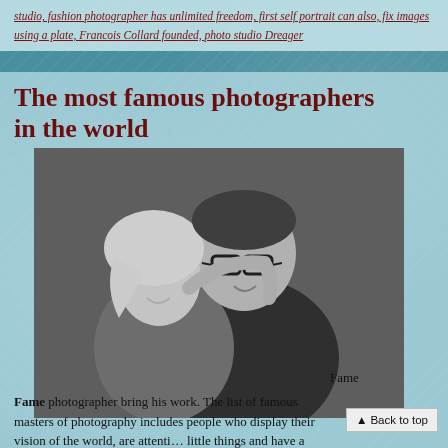studio, fashion photographer has unlimited freedom, first self portrait can also, fix images using a plate, Francois Collard founded, photo studio Dreager
The most famous photographers in the world
[Figure (photo): Black and white photograph of a smiling blonde woman embracing a man wearing thick-framed glasses, both looking toward the camera.]
Fame photographer bring his work. The list of famous masters of photography includes people who display their vision of the world, are attentive to little things and have a high professional level.